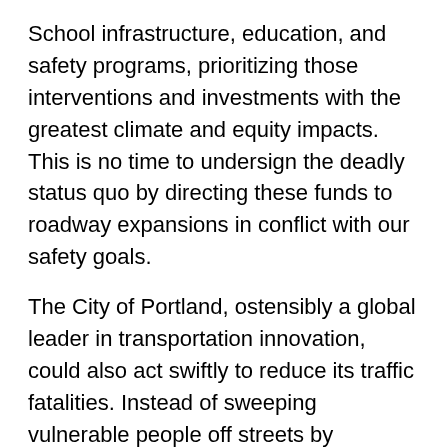School infrastructure, education, and safety programs, prioritizing those interventions and investments with the greatest climate and equity impacts. This is no time to undersign the deadly status quo by directing these funds to roadway expansions in conflict with our safety goals.
The City of Portland, ostensibly a global leader in transportation innovation, could also act swiftly to reduce its traffic fatalities. Instead of sweeping vulnerable people off streets by emergency declaration, it could by the same authority (and with the same money) reduce vehicle speeds, clear intersection corners, and improve lighting in high-crash areas. (Reducing speeds from 40 to 20 MPH increases the likelihood that a vulnerable street user survives  a crash by 70%.)